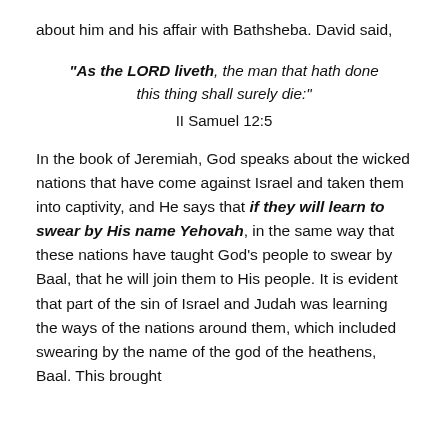about him and his affair with Bathsheba. David said,
“As the LORD liveth, the man that hath done this thing shall surely die:”
II Samuel 12:5
In the book of Jeremiah, God speaks about the wicked nations that have come against Israel and taken them into captivity, and He says that if they will learn to swear by His name Yehovah, in the same way that these nations have taught God’s people to swear by Baal, that he will join them to His people. It is evident that part of the sin of Israel and Judah was learning the ways of the nations around them, which included swearing by the name of the god of the heathens, Baal. This brought